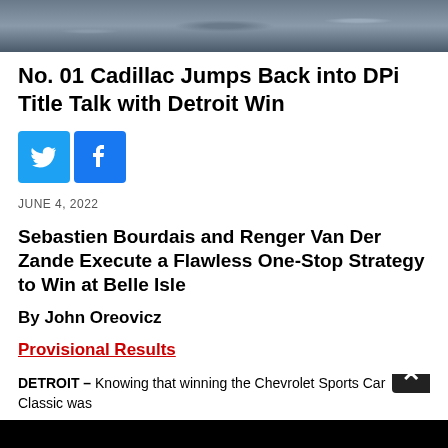[Figure (photo): Dark water/splashing photo banner at top of article page]
No. 01 Cadillac Jumps Back into DPi Title Talk with Detroit Win
[Figure (infographic): Twitter and Facebook social share buttons]
JUNE 4, 2022
Sebastien Bourdais and Renger Van Der Zande Execute a Flawless One-Stop Strategy to Win at Belle Isle
By John Oreovicz
Provisional Results
DETROIT – Knowing that winning the Chevrolet Sports Car Classic was